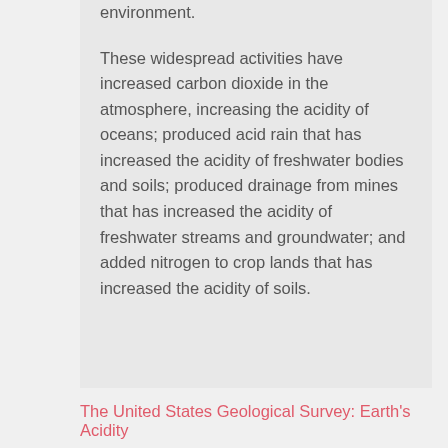environment.
These widespread activities have increased carbon dioxide in the atmosphere, increasing the acidity of oceans; produced acid rain that has increased the acidity of freshwater bodies and soils; produced drainage from mines that has increased the acidity of freshwater streams and groundwater; and added nitrogen to crop lands that has increased the acidity of soils.
The United States Geological Survey: Earth's Acidity